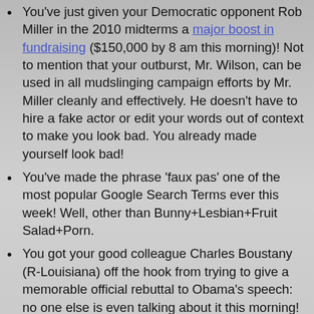You've just given your Democratic opponent Rob Miller in the 2010 midterms a major boost in fundraising ($150,000 by 8 am this morning)! Not to mention that your outburst, Mr. Wilson, can be used in all mudslinging campaign efforts by Mr. Miller cleanly and effectively. He doesn't have to hire a fake actor or edit your words out of context to make you look bad. You already made yourself look bad!
You've made the phrase 'faux pas' one of the most popular Google Search Terms ever this week! Well, other than Bunny+Lesbian+Fruit Salad+Porn.
You got your good colleague Charles Boustany (R-Louisiana) off the hook from trying to give a memorable official rebuttal to Obama's speech: no one else is even talking about it this morning! No stress for Boustany today!
You also get this nice dog whistle which you were